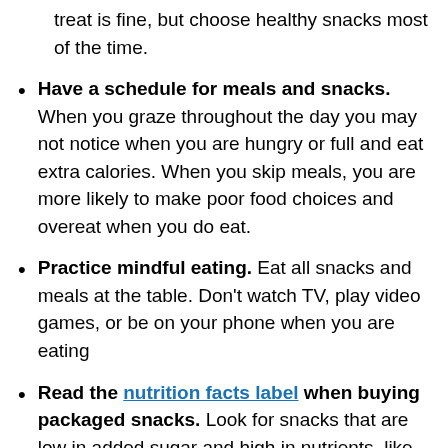treat is fine, but choose healthy snacks most of the time.
Have a schedule for meals and snacks. When you graze throughout the day you may not notice when you are hungry or full and eat extra calories. When you skip meals, you are more likely to make poor food choices and overeat when you do eat.
Practice mindful eating. Eat all snacks and meals at the table. Don't watch TV, play video games, or be on your phone when you are eating
Read the nutrition facts label when buying packaged snacks. Look for snacks that are low in added sugar and high in nutrients, like fiber, protein, and calcium. Check the serving size, especially when eating typical snack foods, like chips. What looks like a small package may be 2 or